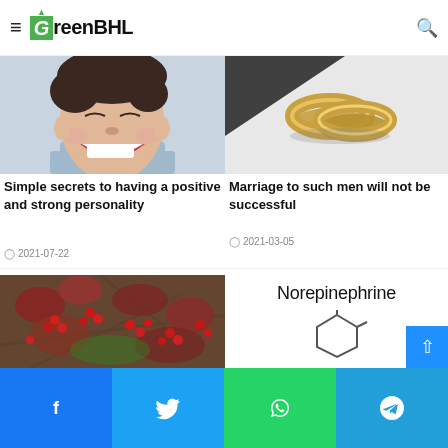GreenBHL
strengthen and care and potted garden
[Figure (photo): Young man laughing with wide open mouth, curly dark hair, gray shirt]
Simple secrets to having a positive and strong personality
2021-07-22
[Figure (photo): Two gold wedding rings on white and dark background]
Marriage to such men will not be successful
2021-03-05
[Figure (photo): Barberry bush with red berries and reddish-brown leaves]
Norepinephrine
[Figure (other): Partial view of a molecular/chemical structure diagram for Norepinephrine]